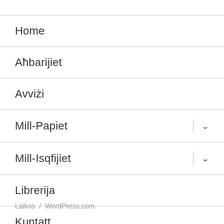Home
Aħbarijiet
Avviżi
Mill-Papiet
Mill-Isqfijiet
Librerija
Kuntatt
Laikos / WordPress.com.